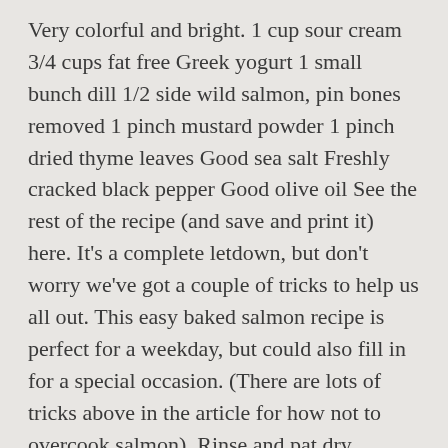Very colorful and bright. 1 cup sour cream 3/4 cups fat free Greek yogurt 1 small bunch dill 1/2 side wild salmon, pin bones removed 1 pinch mustard powder 1 pinch dried thyme leaves Good sea salt Freshly cracked black pepper Good olive oil See the rest of the recipe (and save and print it) here. It's a complete letdown, but don't worry we've got a couple of tricks to help us all out. This easy baked salmon recipe is perfect for a weekday, but could also fill in for a special occasion. (There are lots of tricks above in the article for how not to overcook salmon). Rinse and pat dry salmon. This helps add flavor to the fish and creates a beautiful golden crust. I will make this a go to recipe. Ingredient notes: For those